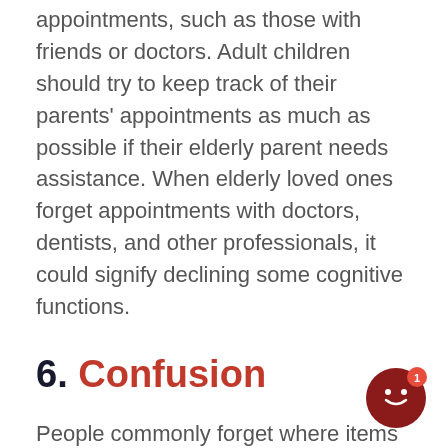appointments, such as those with friends or doctors. Adult children should try to keep track of their parents' appointments as much as possible if their elderly parent needs assistance. When elderly loved ones forget appointments with doctors, dentists, and other professionals, it could signify declining some cognitive functions.
6. Confusion
People commonly forget where items have been left around the home or become frustrated while performing activities of daily living that used to be easy. If these issues occur several times a day, an ongoing or worsening problem with an older person's mental health
[Figure (other): Chat widget button with smiley face icon and red notification badge showing number 1]